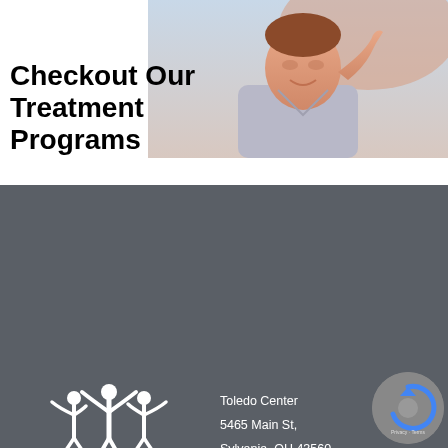[Figure (photo): Smiling young man in a gray t-shirt with hand raised near his face, outdoors with blurred background]
Checkout Our Treatment Programs
[Figure (logo): Toledo Center for Eating Disorders logo — three white figures with arms raised under an arch, text reads TOLEDO CENTER FOR EATING DISORDERS, Hope Healing and Recovery]
Toledo Center
5465 Main St,
Sylvania, OH 43560
866-915-8577
[Figure (illustration): Progress Pride rainbow flag icon]
About Us
[Figure (other): reCAPTCHA badge with Privacy and Terms text]